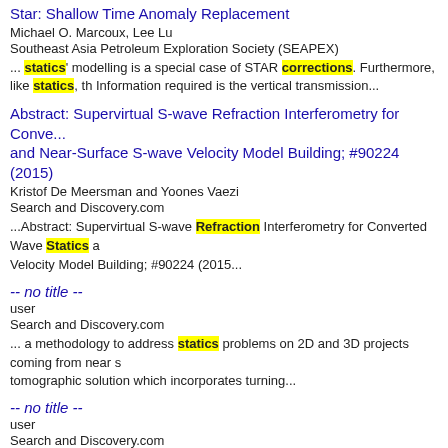Star: Shallow Time Anomaly Replacement
Michael O. Marcoux, Lee Lu
Southeast Asia Petroleum Exploration Society (SEAPEX)
... statics' modelling is a special case of STAR corrections. Furthermore, like statics, th Information required is the vertical transmission...
Abstract: Supervirtual S-wave Refraction Interferometry for Converted Wave and Near-Surface S-wave Velocity Model Building; #90224 (2015)
Kristof De Meersman and Yoones Vaezi
Search and Discovery.com
...Abstract: Supervirtual S-wave Refraction Interferometry for Converted Wave Statics and Near-Surface S-wave Velocity Model Building; #90224 (2015...
-- no title --
user
Search and Discovery.com
... a methodology to address statics problems on 2D and 3D projects coming from near surface tomographic solution which incorporates turning...
-- no title --
user
Search and Discovery.com
... a methodology to address statics problems on 2D and 3D projects coming from near surface tomographic solution which incorporates turning...
Abstract: Multi-Vintage, Pre-Stack Calibration of 3-C, 3-D Time-L...